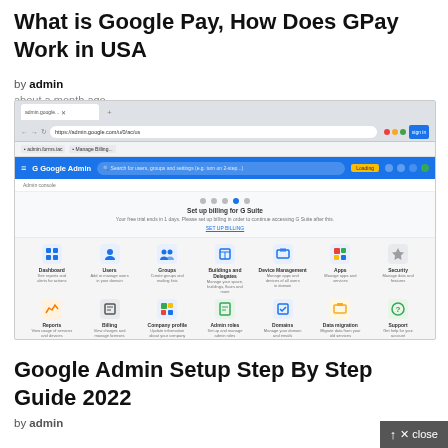What is Google Pay, How Does GPay Work in USA
by admin
about a month ago
[Figure (screenshot): Screenshot of Google Admin console dashboard showing browser chrome, Google Admin navigation bar in blue, billing setup notice, and icon grid with items like Dashboard, Users, Groups, Buildings and Delegates, Device Management, Apps, Security, Reports, Billing, Company Profile, Admin roles, Domains, Data Migration, Support. Watermark at bottom reads servicesABC.com]
Google Admin Setup Step By Step Guide 2022
by admin